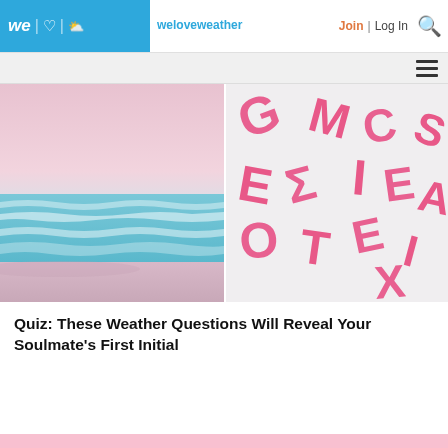we love weather — Join | Log In
[Figure (photo): Pink-sky beach scene with calm ocean waves and sandy shore]
[Figure (photo): Pink plastic letter tiles scattered on a white background]
Quiz: These Weather Questions Will Reveal Your Soulmate's First Initial